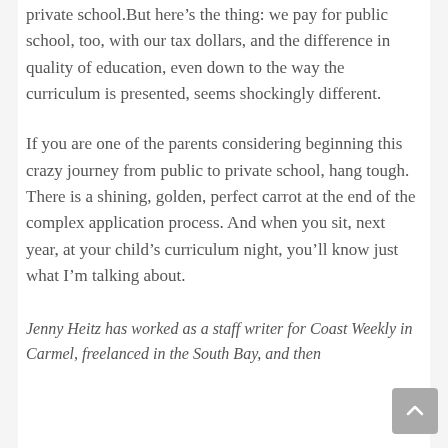private school.But here’s the thing: we pay for public school, too, with our tax dollars, and the difference in quality of education, even down to the way the curriculum is presented, seems shockingly different.
If you are one of the parents considering beginning this crazy journey from public to private school, hang tough. There is a shining, golden, perfect carrot at the end of the complex application process. And when you sit, next year, at your child’s curriculum night, you’ll know just what I’m talking about.
Jenny Heitz has worked as a staff writer for Coast Weekly in Carmel, freelanced in the South Bay, and then